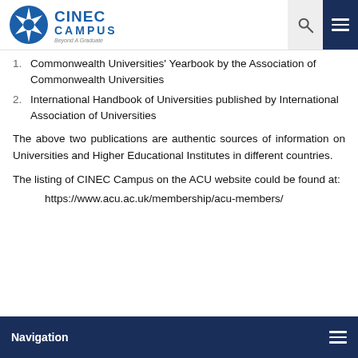[Figure (logo): CINEC Campus logo — blue star/compass emblem, text 'CINEC CAMPUS Beyond A Graduate']
1. Commonwealth Universities' Yearbook by the Association of Commonwealth Universities
2. International Handbook of Universities published by International Association of Universities
The above two publications are authentic sources of information on Universities and Higher Educational Institutes in different countries.
The listing of CINEC Campus on the ACU website could be found at:
https://www.acu.ac.uk/membership/acu-members/
Navigation